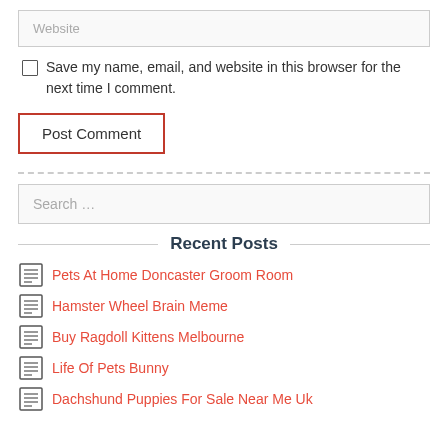Website
Save my name, email, and website in this browser for the next time I comment.
Post Comment
Search …
Recent Posts
Pets At Home Doncaster Groom Room
Hamster Wheel Brain Meme
Buy Ragdoll Kittens Melbourne
Life Of Pets Bunny
Dachshund Puppies For Sale Near Me Uk